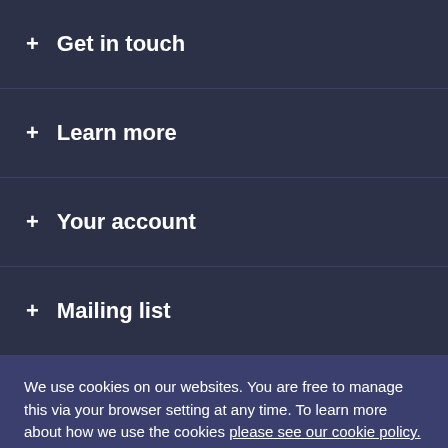+ Get in touch
+ Learn more
+ Your account
+ Mailing list
We use cookies on our websites. You are free to manage this via your browser setting at any time. To learn more about how we use the cookies please see our cookie policy.
Close
©ESP Music Disco Ltd. djkit® is a registered trademark of ESP Music Disco Ltd.